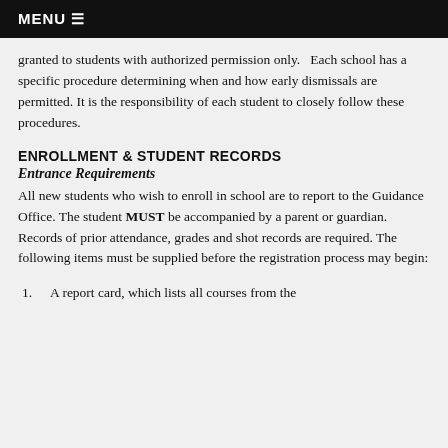MENU ≡
granted to students with authorized permission only.   Each school has a specific procedure determining when and how early dismissals are permitted. It is the responsibility of each student to closely follow these procedures.
ENROLLMENT & STUDENT RECORDS
Entrance Requirements
All new students who wish to enroll in school are to report to the Guidance Office. The student MUST be accompanied by a parent or guardian. Records of prior attendance, grades and shot records are required. The following items must be supplied before the registration process may begin:
1.  A report card, which lists all courses from the